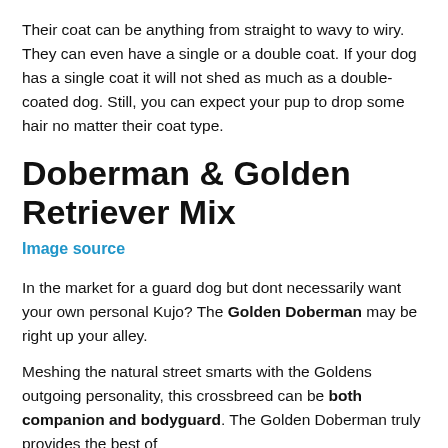Their coat can be anything from straight to wavy to wiry. They can even have a single or a double coat. If your dog has a single coat it will not shed as much as a double-coated dog. Still, you can expect your pup to drop some hair no matter their coat type.
Doberman & Golden Retriever Mix
Image source
In the market for a guard dog but dont necessarily want your own personal Kujo? The Golden Doberman may be right up your alley.
Meshing the natural street smarts with the Goldens outgoing personality, this crossbreed can be both companion and bodyguard. The Golden Doberman truly provides the best of